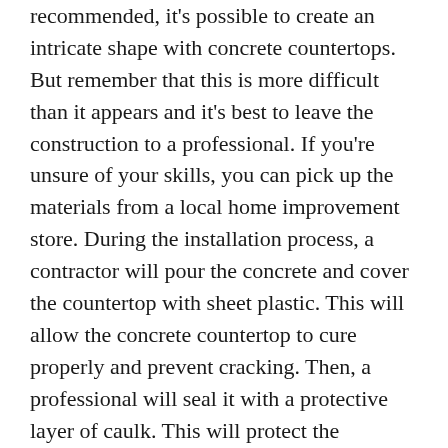recommended, it's possible to create an intricate shape with concrete countertops. But remember that this is more difficult than it appears and it's best to leave the construction to a professional. If you're unsure of your skills, you can pick up the materials from a local home improvement store. During the installation process, a contractor will pour the concrete and cover the countertop with sheet plastic. This will allow the concrete countertop to cure properly and prevent cracking. Then, a professional will seal it with a protective layer of caulk. This will protect the concrete countertop from damage while it's drying. When the project is done, it's time for the concrete countertops to be finished. If you've already done